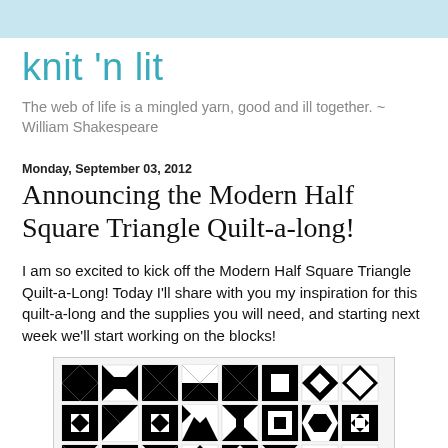knit 'n lit
The web of life is a mingled yarn, good and ill together. ~ William Shakespeare
Monday, September 03, 2012
Announcing the Modern Half Square Triangle Quilt-a-long!
I am so excited to kick off the Modern Half Square Triangle Quilt-a-Long! Today I'll share with you my inspiration for this quilt-a-long and the supplies you will need, and starting next week we'll start working on the blocks!
[Figure (illustration): A grid of 24 black-and-white quilt block patterns arranged in 3 rows of 8, showing various geometric half-square triangle designs.]